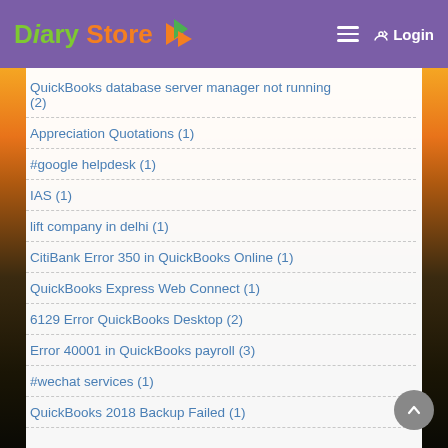Diary Store — Login
QuickBooks database server manager not running (2)
Appreciation Quotations (1)
#google helpdesk (1)
IAS (1)
lift company in delhi (1)
CitiBank Error 350 in QuickBooks Online (1)
QuickBooks Express Web Connect (1)
6129 Error QuickBooks Desktop (2)
Error 40001 in QuickBooks payroll (3)
#wechat services (1)
QuickBooks 2018 Backup Failed (1)